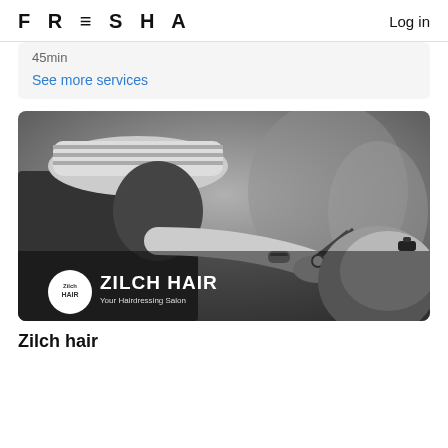FRESHA   Log in
45min
See more services
[Figure (photo): Black and white photo of a hairdresser cutting a client's hair with scissors, wearing a striped hat and bracelet. Zilch Hair logo overlay at the bottom left with text 'Your Hairdressing Salon'.]
Zilch hair